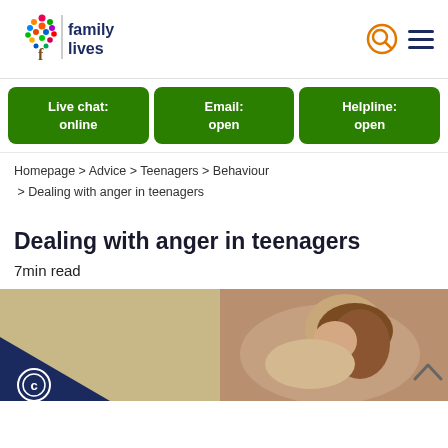[Figure (logo): Family Lives logo with colorful tree and 'family lives' text]
Live chat: online | Email: open | Helpline: open
Homepage > Advice > Teenagers > Behaviour > Dealing with anger in teenagers
Dealing with anger in teenagers
7min read
[Figure (photo): Teenage girl with head down, looking distressed, resting on arms]